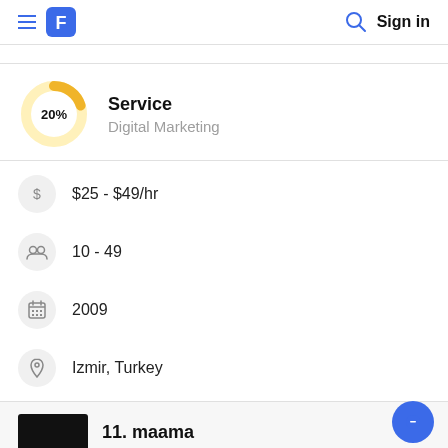Sign in
[Figure (donut-chart): Service]
Service
Digital Marketing
$25 - $49/hr
10 - 49
2009
Izmir, Turkey
11. maama